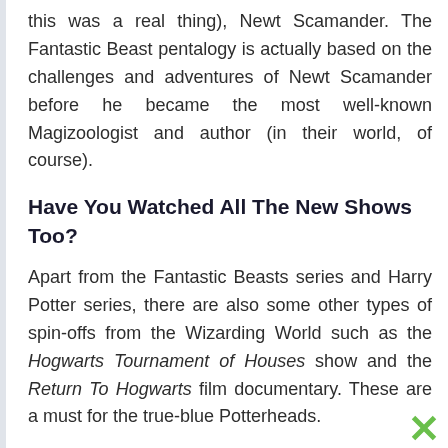this was a real thing), Newt Scamander. The Fantastic Beast pentalogy is actually based on the challenges and adventures of Newt Scamander before he became the most well-known Magizoologist and author (in their world, of course).
Have You Watched All The New Shows Too?
Apart from the Fantastic Beasts series and Harry Potter series, there are also some other types of spin-offs from the Wizarding World such as the Hogwarts Tournament of Houses show and the Return To Hogwarts film documentary. These are a must for the true-blue Potterheads.